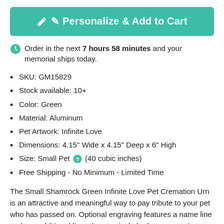[Figure (other): Teal/green 'Personalize & Add to Cart' button with pencil icon]
Order in the next 7 hours 58 minutes and your memorial ships today.
SKU: GM15829
Stock available: 10+
Color: Green
Material: Aluminum
Pet Artwork: Infinite Love
Dimensions: 4.15" Wide x 4.15" Deep x 6" High
Size: Small Pet (40 cubic inches)
Free Shipping - No Minimum - Limited Time
The Small Shamrock Green Infinite Love Pet Cremation Urn is an attractive and meaningful way to pay tribute to your pet who has passed on. Optional engraving features a name line and two additional lines that can include dates or sentiment lines. Choose from our most popular sentiments, customize